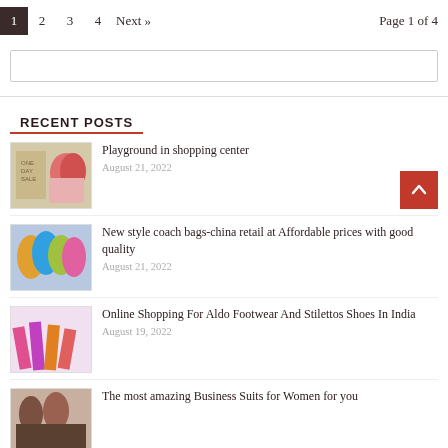1  2  3  4  Next »    Page 1 of 4
(search box)
RECENT POSTS
Playground in shopping center — August 21, 2022
New style coach bags-china retail at Affordable prices with good quality — August 21, 2022
Online Shopping For Aldo Footwear And Stilettos Shoes In India — August 19, 2022
The most amazing Business Suits for Women for you